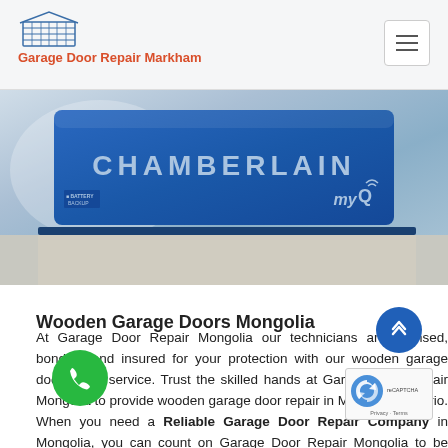Garage Door Repair Markham
[Figure (photo): Photo of a blue Chamberlain garage door opener unit with Battery Backup label and myQ logo, mounted on ceiling]
Wooden Garage Doors Mongolia
At Garage Door Repair Mongolia our technicians are licensed, bonded, and insured for your protection with our wooden garage door repair service. Trust the skilled hands at Garage Door Repair Mongolia to provide wooden garage door repair in Mongolia, Ontario. When you need a Reliable Garage Door Repair Company in Mongolia, you can count on Garage Door Repair Mongolia to be there at your services of wooden door. Garage Door Repair Mongolia provides security solutions for commercial and residential buildings anywhere in Mongolia, Ontario.